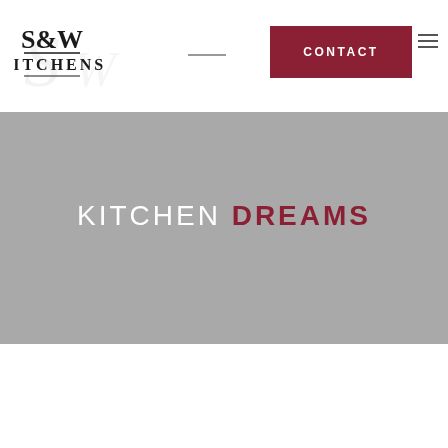[Figure (logo): S&W Kitchens logo with decorative script background]
CONTACT
KITCHEN DREAMS